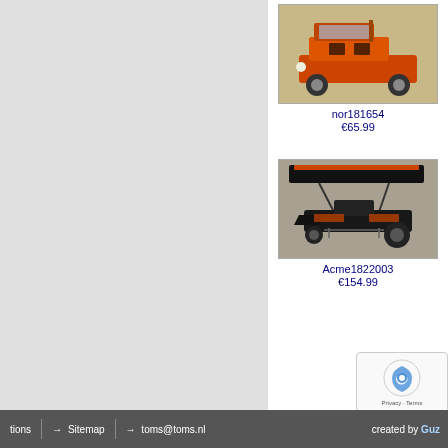[Figure (photo): Orange open-top jeep/safari vehicle model toy on light background]
nor181654
€65.99
[Figure (photo): Black and orange sprint car / dirt track racing car model with large rear wing]
Acme1822003
€154.99
tions  →  Sitemap  →  toms@toms.nl  created by Guz